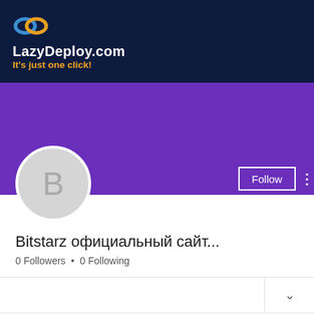[Figure (logo): LazyDeploy.com logo with infinity-style chain link icon in blue/orange, on dark navy background. Text: LazyDeploy.com in white bold, tagline: It's just one click! in orange bold.]
[Figure (illustration): Purple banner background for profile header area]
[Figure (illustration): Circular grey avatar with letter B, white border, overlapping the purple banner]
Follow
Bitstarz официальный сайт...
0 Followers • 0 Following
Profile